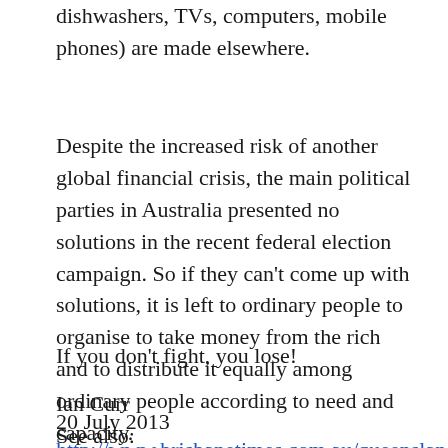dishwashers, TVs, computers, mobile phones) are made elsewhere.
Despite the increased risk of another global financial crisis, the main political parties in Australia presented no solutions in the recent federal election campaign. So if they can't come up with solutions, it is left to ordinary people to organise to take money from the rich and to distribute it equally among ordinary people according to need and capacity.
If you don't fight, you lose!
Ian Curr
20 July 2013
See also:
http://www.brisbanetimes.com.au/queensland/...